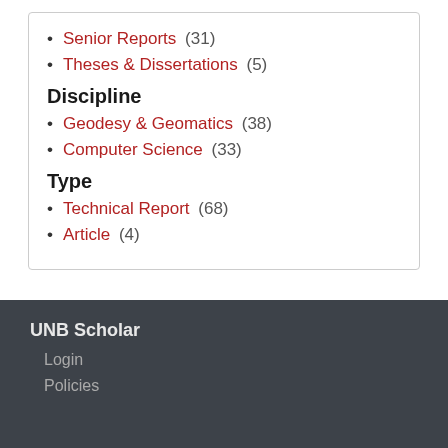Senior Reports (31)
Theses & Dissertations (5)
Discipline
Geodesy & Geomatics (38)
Computer Science (33)
Type
Technical Report (68)
Article (4)
UNB Scholar
Login
Policies